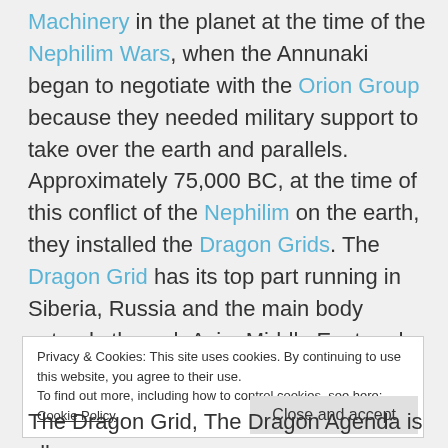Machinery in the planet at the time of the Nephilim Wars, when the Annunaki began to negotiate with the Orion Group because they needed military support to take over the earth and parallels. Approximately 75,000 BC, at the time of this conflict of the Nephilim on the earth, they installed the Dragon Grids. The Dragon Grid has its top part running in Siberia, Russia and the main body extends through Asia, Middle East and into North China and into Japan. These agendas run parallel
Privacy & Cookies: This site uses cookies. By continuing to use this website, you agree to their use.
To find out more, including how to control cookies, see here: Cookie Policy
The Dragon Grid, The Dragon Agenda is all